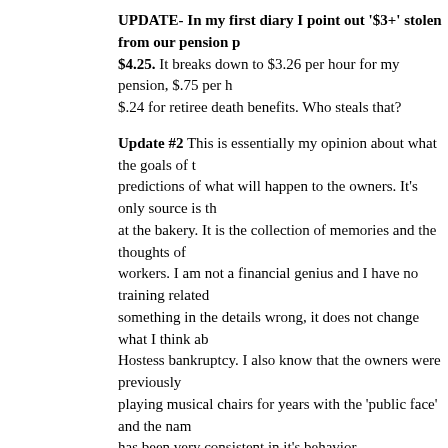UPDATE- In my first diary I point out '$3+' stolen from our pension p $4.25. It breaks down to $3.26 per hour for my pension, $.75 per h $.24 for retiree death benefits. Who steals that?
Update #2 This is essentially my opinion about what the goals of t predictions of what will happen to the owners. It's only source is th at the bakery. It is the collection of memories and the thoughts of workers. I am not a financial genius and I have no training related something in the details wrong, it does not change what I think ab Hostess bankruptcy. I also know that the owners were previously playing musical chairs for years with the 'public face' and the nam has been very consistent in it's behavior.
Update #3 I do not know if I can get in trouble for posting the LOU understand correctly, this is the actual document that is 'signed' a I know that I won't get in legal trouble. However I will show you the wages. I have a hard copy so this is typed, not cut and pasted. I ca choose to post.
"wages: Effective the first Sunday following the ratification of t compensation(wages and commision) will be reduced from the commision rates ("baseline") by 8% in the first year of this LOU baseline in the second, third and 4th years of this LOU, and by